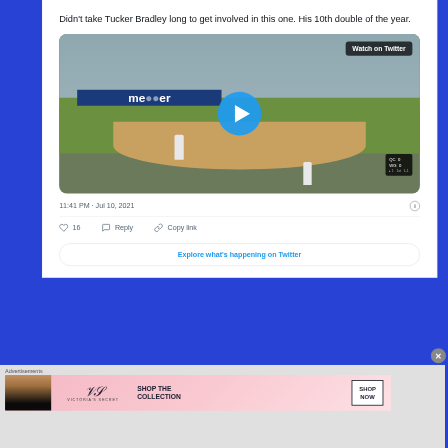Didn't take Tucker Bradley long to get involved in this one. His 10th double of the year.
[Figure (screenshot): Twitter video embed showing a baseball game with 'Watch on Twitter' badge and a play button circle in the center. Two players visible on field. Score overlay bottom right.]
11:41 PM · Jul 10, 2021
♡ 16   Reply   Copy link
Explore what's happening on Twitter
Advertisements
[Figure (photo): Victoria's Secret advertisement banner with a model, VS logo, and text 'SHOP THE COLLECTION' with a 'SHOP NOW' button.]